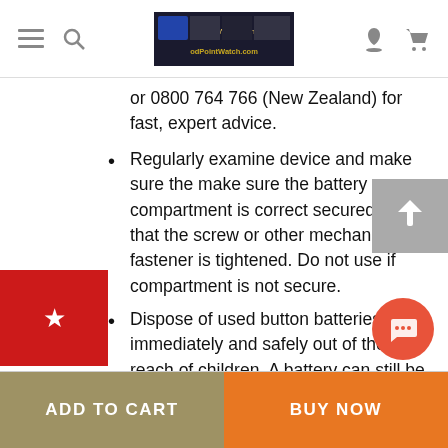navigation header with menu, search, logo, account, cart icons
or 0800 764 766 (New Zealand) for fast, expert advice.
Regularly examine device and make sure the make sure the battery compartment is correct secured, e.g. that the screw or other mechanical fastener is tightened. Do not use if compartment is not secure.
Dispose of used button batteries immediately and safely out of the reach of children. A battery can still be dangerous even when it can no longer operate the watch
Tell others about the risk associated with bu... batteries and how to keep their children safe
ADD TO CART | BUY NOW